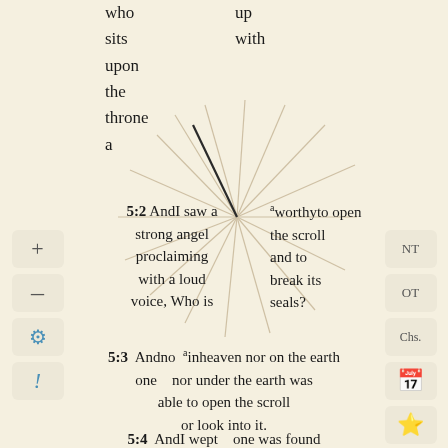who sits upon the throne a
up with
[Figure (illustration): Spoked wheel / radial lines diagram overlaid on the Bible text, with multiple lines radiating from a central point]
5:2 AndI saw a strong angel proclaiming with a loud voice, Who is
a worthy to open the scroll and to break its seals?
5:3 And no a in heaven nor on the earth one nor under the earth was able to open the scroll or look into it.
5:4 AndI wept...one was found